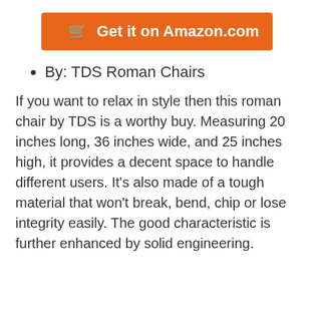[Figure (other): Orange button with shopping cart icon and text 'Get it on Amazon.com']
By: TDS Roman Chairs
If you want to relax in style then this roman chair by TDS is a worthy buy. Measuring 20 inches long, 36 inches wide, and 25 inches high, it provides a decent space to handle different users. It's also made of a tough material that won't break, bend, chip or lose integrity easily. The good characteristic is further enhanced by solid engineering.